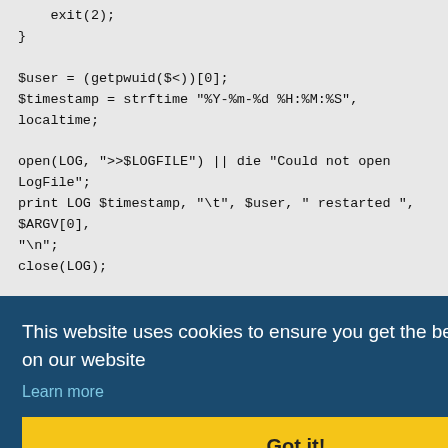exit(2);
}

$user = (getpwuid($<))[0];
$timestamp = strftime "%Y-%m-%d %H:%M:%S", localtime;

open(LOG, ">>$LOGFILE") || die "Could not open LogFile";
print LOG $timestamp, "\t", $user, " restarted ", $ARGV[0],
"\n";
close(LOG);

print "restarting $ARGV[0]...";
system ("/usr/local/bin/svc", "-t", "/service/web-$ARGV[0]");
print "done.\n";
--- cut here ---
This website uses cookies to ensure you get the best experience on our website
Learn more
Got it!
...and daemontools in Intsall Documentation (response to 1)
This website is maintained by the Webtools Committee 2001-2024 rms, email webmaster or submit a bug report.
(Powered by Tcl, Next Scripting, NaviServer 4.99.24, IPv4)